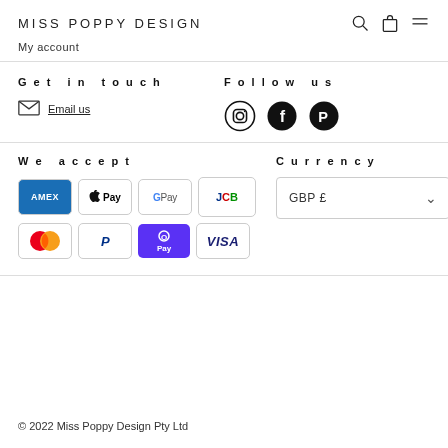MISS POPPY DESIGN
My account
Get in touch
Email us
Follow us
[Figure (logo): Instagram, Facebook, and Pinterest social media icons]
We accept
[Figure (infographic): Payment method icons: American Express, Apple Pay, Google Pay, JCB, Mastercard, PayPal, Shop Pay, Visa]
Currency
GBP £
© 2022 Miss Poppy Design Pty Ltd